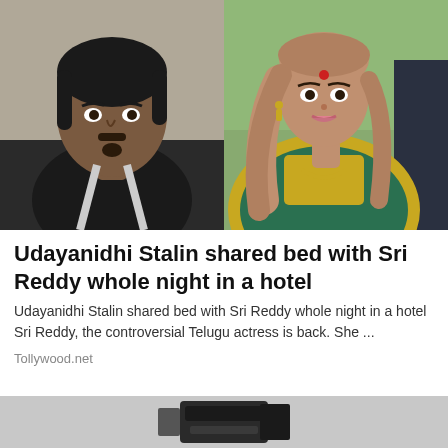[Figure (photo): Side-by-side photos: left shows a dark-haired man in a black shirt; right shows a woman in a green and gold saree with long wavy hair and a bindi]
Udayanidhi Stalin shared bed with Sri Reddy whole night in a hotel
Udayanidhi Stalin shared bed with Sri Reddy whole night in a hotel Sri Reddy, the controversial Telugu actress is back. She ...
Tollywood.net
[Figure (photo): Partial image of a dark object visible at the bottom of the page]